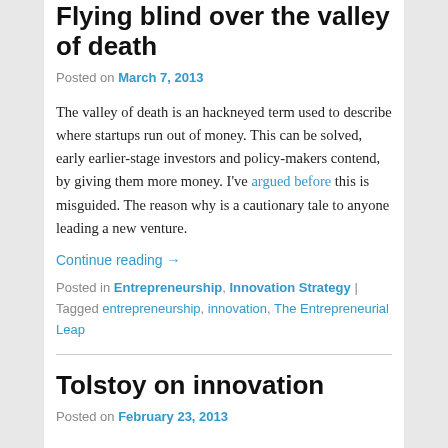Flying blind over the valley of death
Posted on March 7, 2013
The valley of death is an hackneyed term used to describe where startups run out of money. This can be solved, early earlier-stage investors and policy-makers contend, by giving them more money. I've argued before this is misguided. The reason why is a cautionary tale to anyone leading a new venture.
Continue reading →
Posted in Entrepreneurship, Innovation Strategy | Tagged entrepreneurship, innovation, The Entrepreneurial Leap
Tolstoy on innovation
Posted on February 23, 2013